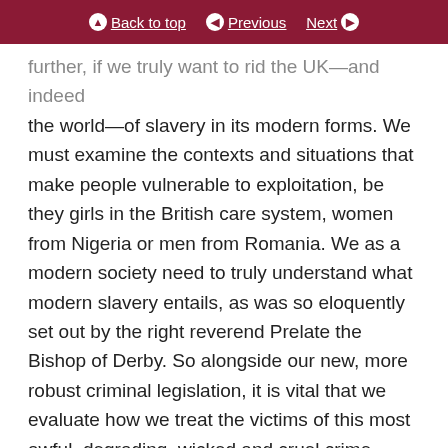Back to top | Previous | Next
further, if we truly want to rid the UK—and indeed the world—of slavery in its modern forms. We must examine the contexts and situations that make people vulnerable to exploitation, be they girls in the British care system, women from Nigeria or men from Romania. We as a modern society need to truly understand what modern slavery entails, as was so eloquently set out by the right reverend Prelate the Bishop of Derby. So alongside our new, more robust criminal legislation, it is vital that we evaluate how we treat the victims of this most awful, degrading, wicked and cruel crime, which involves mental, physical, emotional and sexual abuse and which abuses human dignity, destroys confidence and self-esteem and ruins lives.